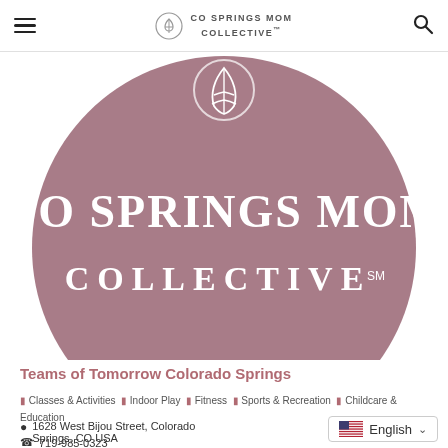CO SPRINGS MOM COLLECTIVE
[Figure (logo): Large circular logo with mauve/dusty rose background. White text reads 'CO SPRINGS MOM COLLECTIVE' with a decorative leaf/botanical icon at top. Service mark symbol (SM) after COLLECTIVE.]
Teams of Tomorrow Colorado Springs
Classes & Activities
Indoor Play
Fitness
Sports & Recreation
Childcare & Education
1628 West Bijou Street, Colorado Springs, CO USA
719-985-0323